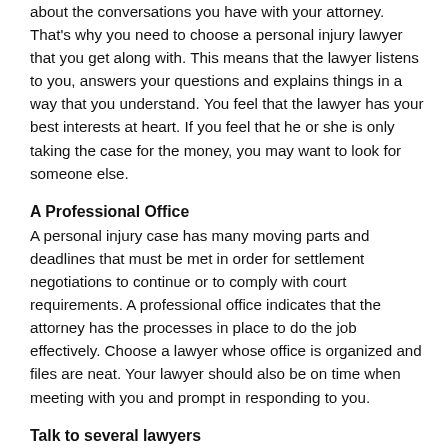about the conversations you have with your attorney. That's why you need to choose a personal injury lawyer that you get along with. This means that the lawyer listens to you, answers your questions and explains things in a way that you understand. You feel that the lawyer has your best interests at heart. If you feel that he or she is only taking the case for the money, you may want to look for someone else.
A Professional Office
A personal injury case has many moving parts and deadlines that must be met in order for settlement negotiations to continue or to comply with court requirements. A professional office indicates that the attorney has the processes in place to do the job effectively. Choose a lawyer whose office is organized and files are neat. Your lawyer should also be on time when meeting with you and prompt in responding to you.
Talk to several lawyers
Talking to several lawyers will help you identify which one is